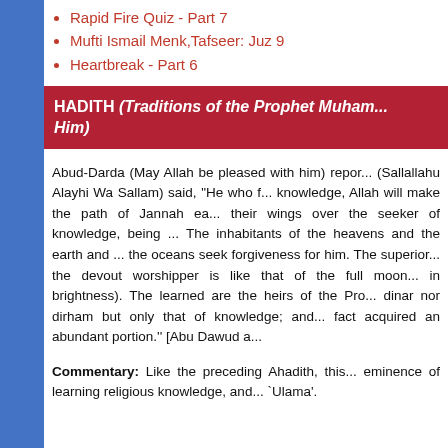Rapid Fire Quiz - Part 7
Mufti Ismail Menk, Tafseer: Juz 9
Heartbreak - Part 6
HADITH (Traditions of the Prophet Muhammad, Peace Be Upon Him)
Abud-Darda (May Allah be pleased with him) reported that the Prophet (Sallallahu Alayhi Wa Sallam) said, "He who follows a path in quest of knowledge, Allah will make the path of Jannah easy to him. The angels spread their wings over the seeker of knowledge, being pleased with what he does. The inhabitants of the heavens and the earth and even the fish in the depths of the oceans seek forgiveness for him. The superiority of the learned man over the devout worshipper is like that of the full moon to the rest of the stars (in brightness). The learned are the heirs of the Prophets who bequeath neither dinar nor dirham but only that of knowledge; and he who acquires it, has in fact acquired an abundant portion.'' [Abu Dawud and At-Tirmidhi]
Commentary: Like the preceding Ahadith, this Hadith also highlights the eminence of learning religious knowledge, and the status of the `Ulama'.